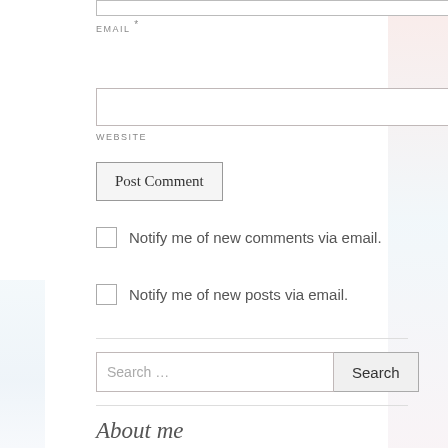EMAIL *
WEBSITE
Post Comment
Notify me of new comments via email.
Notify me of new posts via email.
Search …
About me
Hi, I'm Kirsti-Marie but you can call me Kirsti, Kirst, Kir –